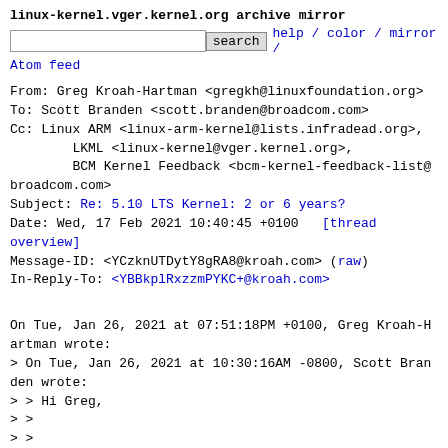linux-kernel.vger.kernel.org archive mirror
[search input] search  help / color / mirror / Atom feed
From: Greg Kroah-Hartman <gregkh@linuxfoundation.org>
To: Scott Branden <scott.branden@broadcom.com>
Cc: Linux ARM <linux-arm-kernel@lists.infradead.org>,
        LKML <linux-kernel@vger.kernel.org>,
        BCM Kernel Feedback <bcm-kernel-feedback-list@broadcom.com>
Subject: Re: 5.10 LTS Kernel: 2 or 6 years?
Date: Wed, 17 Feb 2021 10:40:45 +0100   [thread overview]
Message-ID: <YCzknUTDytY8gRA8@kroah.com> (raw)
In-Reply-To: <YBBkplRxzzmPYKC+@kroah.com>
On Tue, Jan 26, 2021 at 07:51:18PM +0100, Greg Kroah-Hartman wrote:
> On Tue, Jan 26, 2021 at 10:30:16AM -0800, Scott Branden wrote:
> > Hi Greg,
> >
> >
> > On 2021-01-25 11:29 p.m., Greg Kroah-Hartman wrote:
> > > On Mon, Jan 25, 2021 at 11:55:11AM -0800, Scott Branden wrote:
> > >> Hi All,
> > >>
> > >> The 5.10 LTS kernel being officially LTS